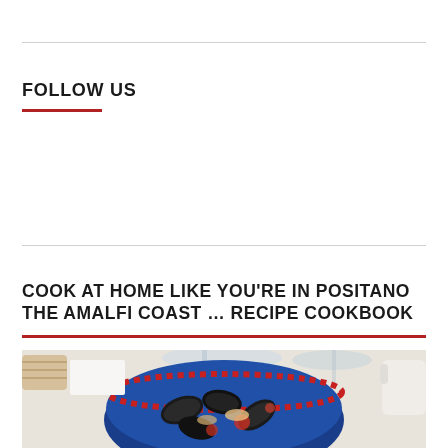FOLLOW US
COOK AT HOME LIKE YOU'RE IN POSITANO THE AMALFI COAST … RECIPE COOKBOOK
[Figure (photo): A blue ceramic bowl with a decorative red dotted rim filled with mussels and seafood, photographed on a white tablecloth with glassware in the background]